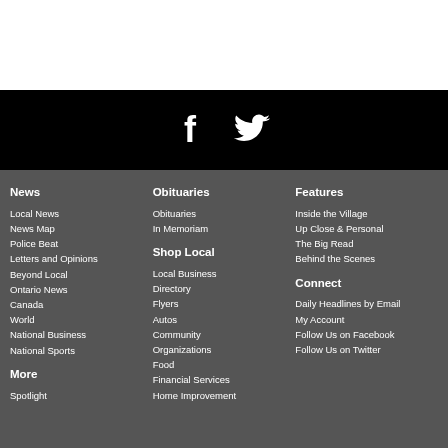[Figure (other): White top banner area]
[Figure (other): Black social media bar with Facebook and Twitter icons]
News
Local News
News Map
Police Beat
Letters and Opinions
Beyond Local
Ontario News
Canada
World
National Business
National Sports
More
Spotlight
Obituaries
Obituaries
In Memoriam
Shop Local
Local Business Directory
Flyers
Autos
Community Organizations
Food
Financial Services
Home Improvement
Features
Inside the Village
Up Close & Personal
The Big Read
Behind the Scenes
Connect
Daily Headlines by Email
My Account
Follow Us on Facebook
Follow Us on Twitter